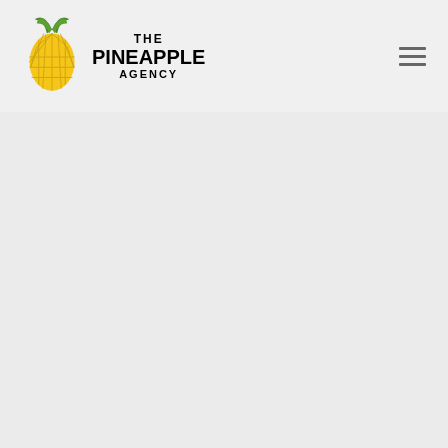THE PINEAPPLE AGENCY
Hopefully you can try adding prizes to up the stakes. Offering anything for free will almost always get a huge response!